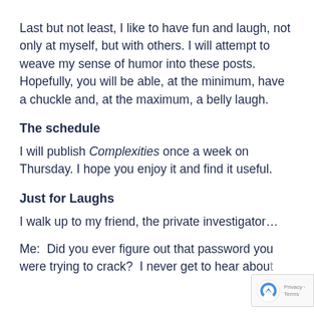Last but not least, I like to have fun and laugh, not only at myself, but with others. I will attempt to weave my sense of humor into these posts. Hopefully, you will be able, at the minimum, have a chuckle and, at the maximum, a belly laugh.
The schedule
I will publish Complexities once a week on Thursday. I hope you enjoy it and find it useful.
Just for Laughs
I walk up to my friend, the private investigator…
Me:  Did you ever figure out that password you were trying to crack?  I never get to hear about